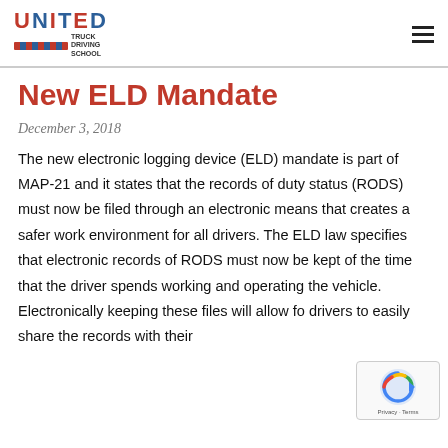UNITED TRUCK DRIVING SCHOOL
New ELD Mandate
December 3, 2018
The new electronic logging device (ELD) mandate is part of MAP-21 and it states that the records of duty status (RODS) must now be filed through an electronic means that creates a safer work environment for all drivers. The ELD law specifies that electronic records of RODS must now be kept of the time that the driver spends working and operating the vehicle.
Electronically keeping these files will allow fo drivers to easily share the records with their